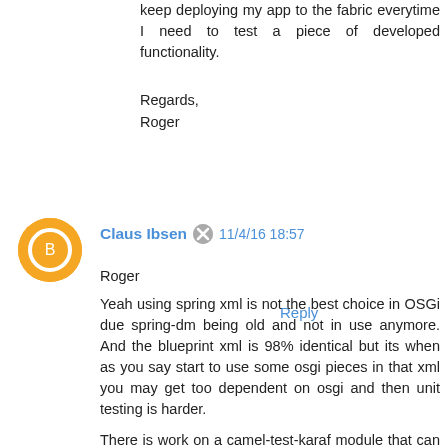keep deploying my app to the fabric everytime I need to test a piece of developed functionality.
Regards,
Roger
Reply
Claus Ibsen  11/4/16 18:57
Roger
Yeah using spring xml is not the best choice in OSGi due spring-dm being old and not in use anymore. And the blueprint xml is 98% identical but its when as you say start to use some osgi pieces in that xml you may get too dependent on osgi and then unit testing is harder.
There is work on a camel-test-karaf module that can help with this https://github.com/apache/camel/tree/master/components/camel-test-karaf
It will boot up a karaf container and run your test. Its slower...